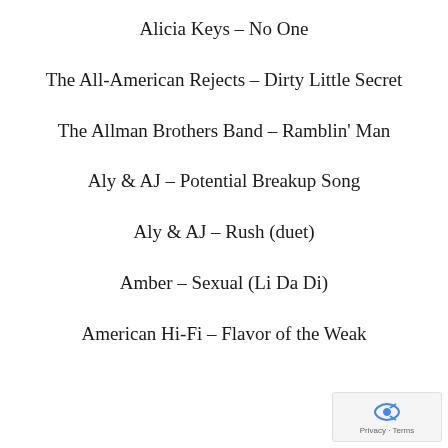Alicia Keys – No One
The All-American Rejects – Dirty Little Secret
The Allman Brothers Band – Ramblin' Man
Aly & AJ – Potential Breakup Song
Aly & AJ – Rush (duet)
Amber – Sexual (Li Da Di)
American Hi-Fi – Flavor of the Weak